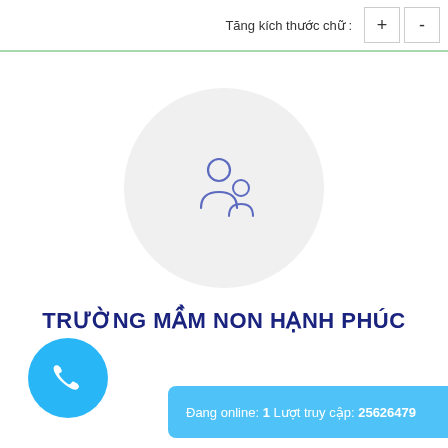Tăng kích thước chữ : + -
[Figure (illustration): Light gray circle with a person/user icon (adult and child silhouette) in blue outline style, centered on the page]
TRƯỜNG MẦM NON HẠNH PHÚC
[Figure (illustration): Blue circular phone call button with white phone handset icon]
Đang online: 1 Lượt truy cập: 25626479